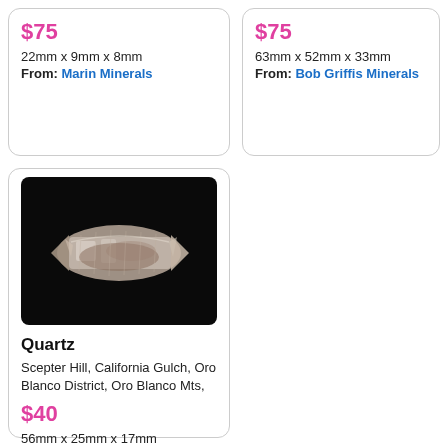$75
22mm x 9mm x 8mm
From: Marin Minerals
$75
63mm x 52mm x 33mm
From: Bob Griffis Minerals
[Figure (photo): Quartz crystal specimen on black background, elongated scepter crystal with brownish matrix inclusions]
Quartz
Scepter Hill, California Gulch, Oro Blanco District, Oro Blanco Mts,
$40
56mm x 25mm x 17mm
From: Bob Griffis